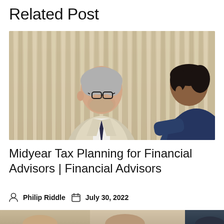Related Post
[Figure (photo): Two men in a business consultation setting in front of a background with vertical wooden slats. An older man with gray hair and glasses wearing a light blazer and dark tie is on the left. A younger man with dark hair is partially visible on the right.]
Midyear Tax Planning for Financial Advisors | Financial Advisors
Philip Riddle   July 30, 2022
[Figure (photo): Bottom strip showing the tops of heads of people in a business setting, partially cut off at the bottom of the page.]